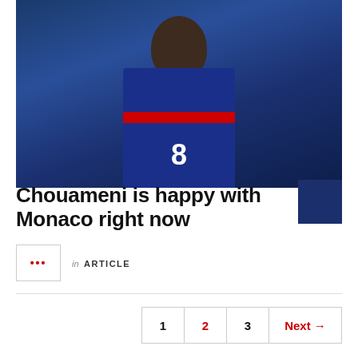[Figure (photo): A soccer player wearing France national team jersey number 8 in dark blue with a red stripe, looking forward, against a blurred stadium background]
Chouameni is happy with Monaco right now
... in ARTICLE
1  2  3  Next →